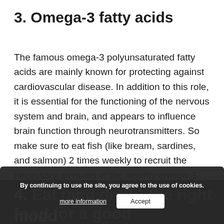3. Omega-3 fatty acids
The famous omega-3 polyunsaturated fatty acids are mainly known for protecting against cardiovascular disease. In addition to this role, it is essential for the functioning of the nervous system and brain, and appears to influence brain function through neurotransmitters. So make sure to eat fish (like bream, sardines, and salmon) 2 times weekly to recruit the necessary amounts of the healthy omega-3.
4. Eat (and drink) the right food for a good mood
By continuing to use the site, you agree to the use of cookies. more information | Accept